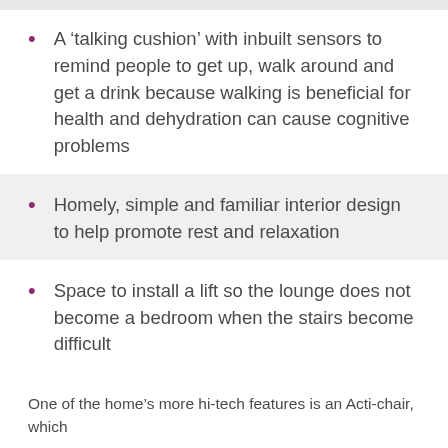A ‘talking cushion’ with inbuilt sensors to remind people to get up, walk around and get a drink because walking is beneficial for health and dehydration can cause cognitive problems
Homely, simple and familiar interior design to help promote rest and relaxation
Space to install a lift so the lounge does not become a bedroom when the stairs become difficult
One of the home’s more hi-tech features is an Acti-chair, which